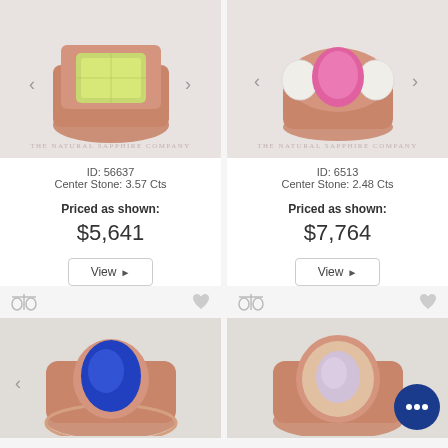[Figure (photo): Rose gold ring with green/yellow emerald-cut gemstone center stone, on white background with The Natural Sapphire Company watermark]
[Figure (photo): Rose gold ring with pink oval sapphire center stone flanked by diamond clusters, on white background with The Natural Sapphire Company watermark]
ID: 56637
Center Stone: 3.57 Cts
ID: 6513
Center Stone: 2.48 Cts
Priced as shown:
Priced as shown:
$5,641
$7,764
[Figure (photo): Rose gold ring with blue oval sapphire center stone and diamond pave band]
[Figure (photo): Rose gold halo ring with light lavender/pale stone center, with chat bubble overlay icon]